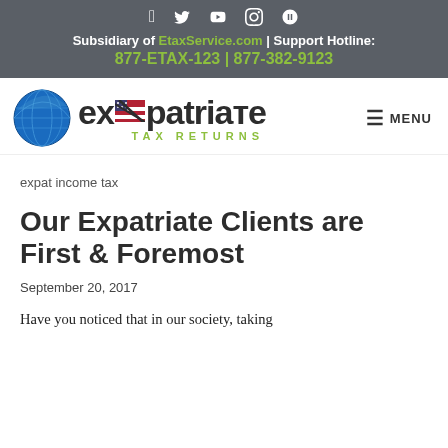Subsidiary of EtaxService.com | Support Hotline: 877-ETAX-123 | 877-382-9123
[Figure (logo): Expatriate Tax Returns logo with globe and American flag incorporated into the letter X]
MENU
expat income tax
Our Expatriate Clients are First & Foremost
September 20, 2017
Have you noticed that in our society, taking